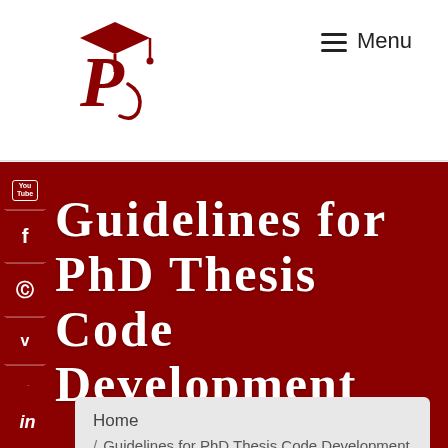[Figure (logo): PS logo with graduation cap in dark red/crimson color]
≡ Menu
Guidelines for PhD Thesis Code Development
Home / Guidelines for PhD Thesis Code Development